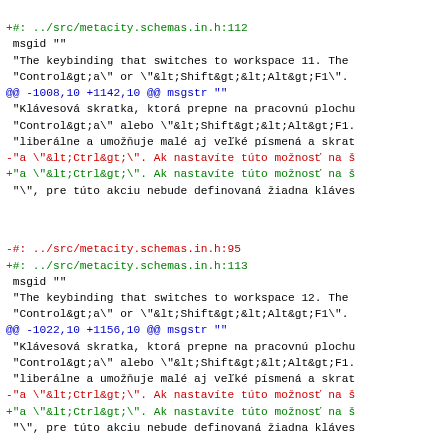+#: ../src/metacity.schemas.in.h:112
 msgid ""
 "The keybinding that switches to workspace 11. The
 "Control&gt;a\" or \"&lt;Shift&gt;&lt;Alt&gt;F1\".
@@ -1008,10 +1142,10 @@ msgstr ""
 "Klávesová skratka, ktorá prepne na pracovnú plochu
 "Control&gt;a\" alebo \"&lt;Shift&gt;&lt;Alt&gt;F1.
 "liberálne a umožňuje malé aj veľké písmená a skrat
-"a \"&lt;Ctrl&gt;\". Ak nastavíte túto možnosť na š
+"a \"&lt;Ctrl&gt;\". Ak nastavíte túto možnosť na š
 "\", pre túto akciu nebude definovaná žiadna klaves
-#: ../src/metacity.schemas.in.h:95
+#: ../src/metacity.schemas.in.h:113
 msgid ""
 "The keybinding that switches to workspace 12. The
 "Control&gt;a\" or \"&lt;Shift&gt;&lt;Alt&gt;F1\".
@@ -1022,10 +1156,10 @@ msgstr ""
 "Klávesová skratka, ktorá prepne na pracovnú plochu
 "Control&gt;a\" alebo \"&lt;Shift&gt;&lt;Alt&gt;F1.
 "liberálne a umožňuje malé aj veľké písmená a skrat
-"a \"&lt;Ctrl&gt;\". Ak nastavíte túto možnosť na š
+"a \"&lt;Ctrl&gt;\". Ak nastavíte túto možnosť na š
 "\", pre túto akciu nebude definovaná žiadna klaves
-#: ../src/metacity.schemas.in.h:96
+#: ../src/metacity.schemas.in.h:114
 msgid ""
 "The keybinding that switches to workspace 2. The f
 "Control&gt;a\" or \"&lt;Shift&gt;&lt;Alt&gt;F1\.